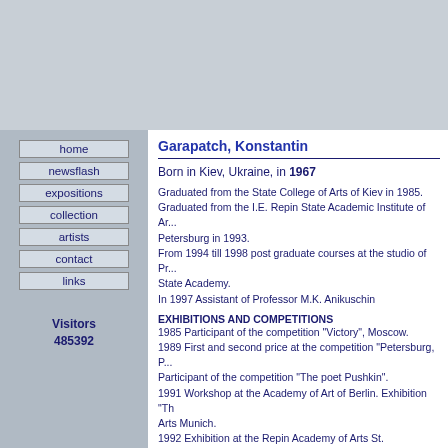[Figure (other): Top banner gray area]
home
newsflash
expositions
collection
artists
contact
links
Visitors 485392
Garapatch, Konstantin
Born in Kiev, Ukraine, in 1967
Graduated from the State College of Arts of Kiev in 1985. Graduated from the I.E. Repin State Academic Institute of Arts St. Petersburg in 1993. From 1994 till 1998 post graduate courses at the studio of Professor at State Academy. In 1997 Assistant of Professor M.K. Anikuschin
EXHIBITIONS AND COMPETITIONS
1985 Participant of the competition "Victory", Moscow.
1989 First and second price at the competition "Petersburg, P...". Participant of the competition "The poet Pushkin".
1991 Workshop at the Academy of Art of Berlin. Exhibition "Th..." Arts Munich.
1992 Exhibition at the Repin Academy of Arts St. Petersburg.
1995 Exhibition at the Academy of Arts Moscow. Second Inte... Petersburg. Assignment for a sculpture for the University of Ir...
1996 Exhibition in Aachen, Germany. Exhibition at the Repin A...
1997 Monumental sculpture for the metro station "Sportiwnaja..."
1998 Exhibition Eupen, Belgium.
1999 Stipend of the Ministry of Culture of the Russian Federa... Arts", Connecticut, U.S.A. Participation in the sculpture "Mine..." of Arts, St. Petersburg.
2000 Participation at the monument "A.S. Pushkin", Kursk...